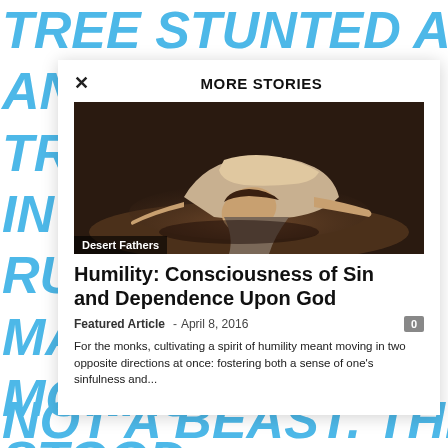[Figure (screenshot): Website screenshot showing a 'More Stories' modal overlay on a page with large italic blue text in the background. The modal contains an article preview with an image of a person prostrating in prayer, tagged 'Desert Fathers', with article title 'Humility: Consciousness of Sin and Dependence Upon God', dated April 8, 2016, and an excerpt about monks cultivating humility.]
TREE STUNTED AND DRY AND D...TREE, A...IN THE...RUINE...MANY...MONAS...STOOD...THAT, I...A PATC...NOT A BEAST. THE FACE OF
MORE STORIES
Desert Fathers
Humility: Consciousness of Sin and Dependence Upon God
Featured Article - April 8, 2016
For the monks, cultivating a spirit of humility meant moving in two opposite directions at once: fostering both a sense of one's sinfulness and...